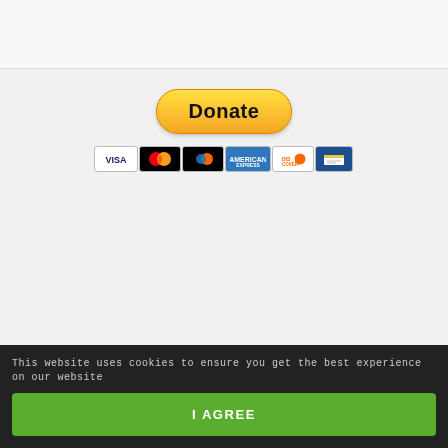[Figure (other): PayPal Donate button with payment card icons (Visa, Mastercard, Discover, American Express, eCheck)]
This website uses cookies to ensure you get the best experience on our website
I AGREE